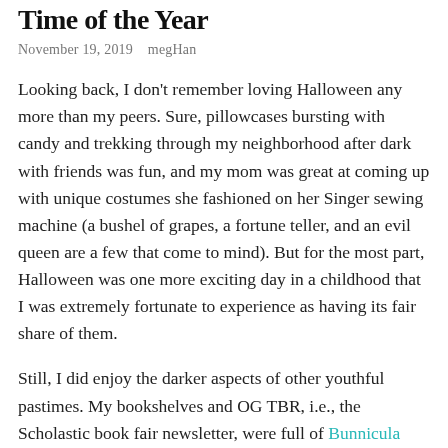Time of the Year
November 19, 2019   megHan
Looking back, I don't remember loving Halloween any more than my peers. Sure, pillowcases bursting with candy and trekking through my neighborhood after dark with friends was fun, and my mom was great at coming up with unique costumes she fashioned on her Singer sewing machine (a bushel of grapes, a fortune teller, and an evil queen are a few that come to mind). But for the most part, Halloween was one more exciting day in a childhood that I was extremely fortunate to experience as having its fair share of them.
Still, I did enjoy the darker aspects of other youthful pastimes. My bookshelves and OG TBR, i.e., the Scholastic book fair newsletter, were full of Bunnicula